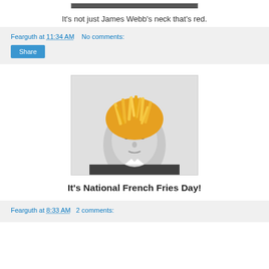[Figure (photo): Partial image at top of page, cropped]
It's not just James Webb's neck that's red.
Fearguth at 11:34 AM   No comments:
[Figure (photo): Black and white portrait of a man with french fries composited on top of his head in place of hair]
It's National French Fries Day!
Fearguth at 8:33 AM   2 comments: